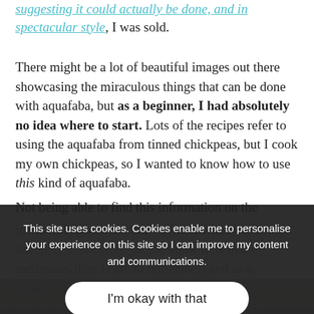suggesting it could actually be done, and in spectacular style, I was sold.
There might be a lot of beautiful images out there showcasing the miraculous things that can be done with aquafaba, but as a beginner, I had absolutely no idea where to start. Lots of the recipes refer to using the aquafaba from tinned chickpeas, but I cook my own chickpeas, so I wanted to know how to use this kind of aquafaba.
Not being able to find this information on the internet, I spent an entire weekend whisking and testing (I made more meringues than I care to remember) and as a result, I think I've mastered the basics.
This site uses cookies. Cookies enable me to personalise your experience on this site so I can improve my content and communications.
I'm okay with that